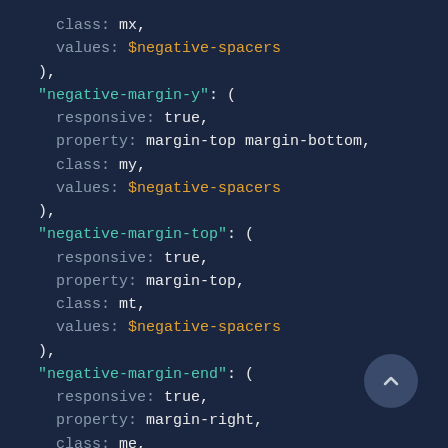[Figure (screenshot): Dark-themed code editor screenshot showing SCSS/configuration code with syntax highlighting. Lines include class: mx, values: $negative-spacers, closing paren/comma, 'negative-margin-y' block with responsive: true, property: margin-top margin-bottom, class: my, values: $negative-spacers, 'negative-margin-top' block with responsive: true, property: margin-top, class: mt, values: $negative-spacers, 'negative-margin-end' block with responsive: true, property: margin-right, class: me, values: $negative-spacers. A scroll-to-top button is visible at the bottom right.]